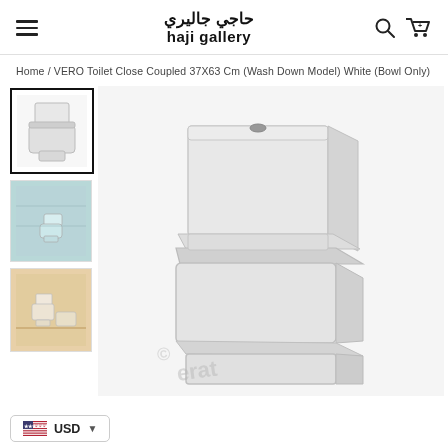haji gallery / حاجي جاليري
Home / VERO Toilet Close Coupled 37X63 Cm (Wash Down Model) White (Bowl Only)
[Figure (photo): Product thumbnails: white toilet close coupled (selected), toilet in blue bathroom, toilet in warm-toned bathroom]
[Figure (photo): Main product image: VERO Toilet Close Coupled white, showing tank and bowl with lid from angled side view, on white background with watermark]
USD